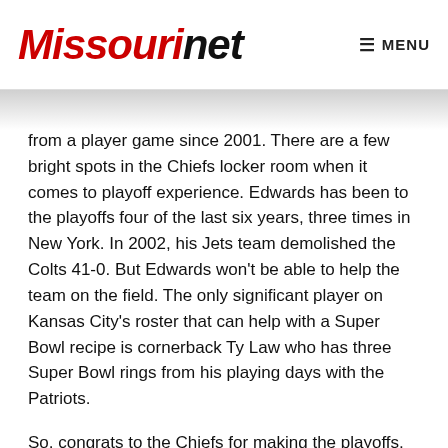Missourinet  MENU
from a player game since 2001. There are a few bright spots in the Chiefs locker room when it comes to playoff experience. Edwards has been to the playoffs four of the last six years, three times in New York. In 2002, his Jets team demolished the Colts 41-0. But Edwards won't be able to help the team on the field. The only significant player on Kansas City's roster that can help with a Super Bowl recipe is cornerback Ty Law who has three Super Bowl rings from his playing days with the Patriots.
So, congrats to the Chiefs for making the playoffs, but all the stars must line up for them to make a return trip to the Super Bowl. A return from 1970. Good luck.
Share this: